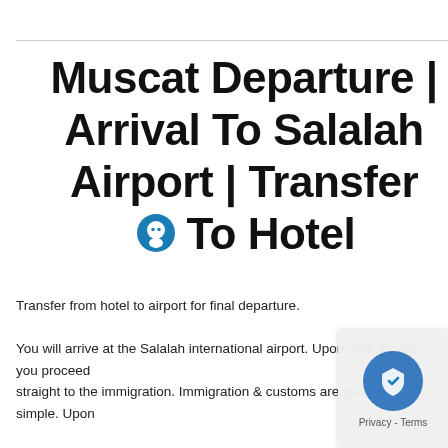Muscat Departure | Arrival To Salalah Airport | Transfer To Hotel
Transfer from hotel to airport for final departure.
You will arrive at the Salalah international airport. Upon your arrival you proceed straight to the immigration. Immigration & customs are quick simple. Upon